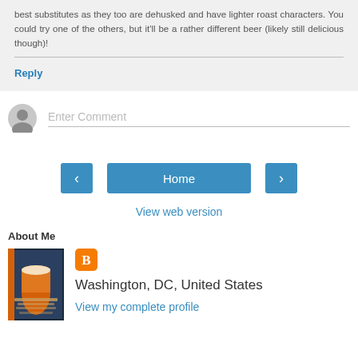best substitutes as they too are dehusked and have lighter roast characters. You could try one of the others, but it'll be a rather different beer (likely still delicious though)!
Reply
Enter Comment
Home
View web version
About Me
Washington, DC, United States
View my complete profile